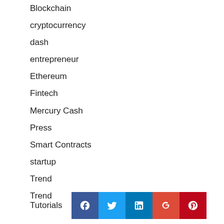Blockchain
cryptocurrency
dash
entrepreneur
Ethereum
Fintech
Mercury Cash
Press
Smart Contracts
startup
Trend
Trend
Tutorials